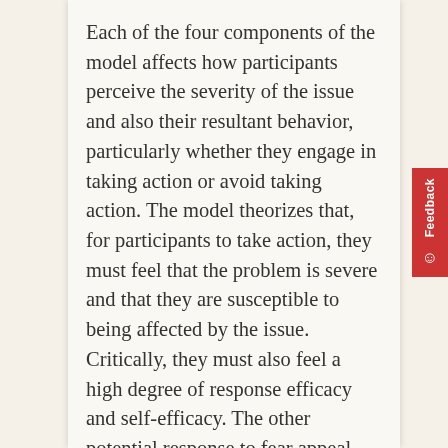Each of the four components of the model affects how participants perceive the severity of the issue and also their resultant behavior, particularly whether they engage in taking action or avoid taking action. The model theorizes that, for participants to take action, they must feel that the problem is severe and that they are susceptible to being affected by the issue. Critically, they must also feel a high degree of response efficacy and self-efficacy. The other potential response to fear appeal messaging—and the unintended, undesirable consequence—is that the recipient may respond to the fear appeal through avoidance. This can happen if the solutions offered are not perceived as effective or self-efficacious. This avoidance could be a disastrous consequence of using fear appeal messages about global climate change, which is why the researcher sought to examine